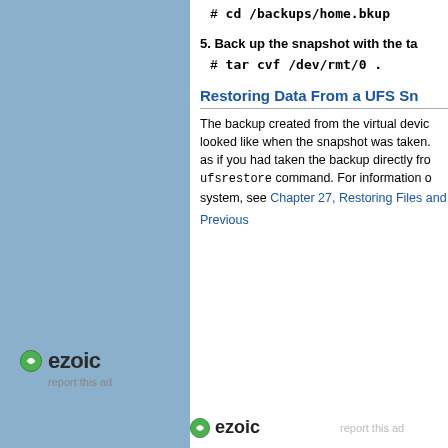# cd /backups/home.bkup
5. Back up the snapshot with the tar command.
# tar cvf /dev/rmt/0 .
Restoring Data From a UFS Sn...
The backup created from the virtual device looked like when the snapshot was taken. as if you had taken the backup directly from... ufsrestore command. For information on... system, see Chapter 27, Restoring Files and...
Previous
[Figure (logo): Ezoic logo with green circular icon and bold text 'ezoic', with 'report this ad' text below]
[Figure (logo): Ezoic logo with green circular icon and bold text 'ezoic', with 'report this ad' text to the right]